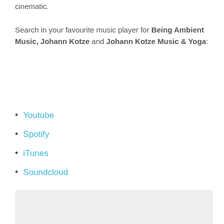cinematic.
Search in your favourite music player for Being Ambient Music, Johann Kotze and Johann Kotze Music & Yoga:
Youtube
Spotify
iTunes
Soundcloud
[Figure (other): Gray placeholder box/image area]